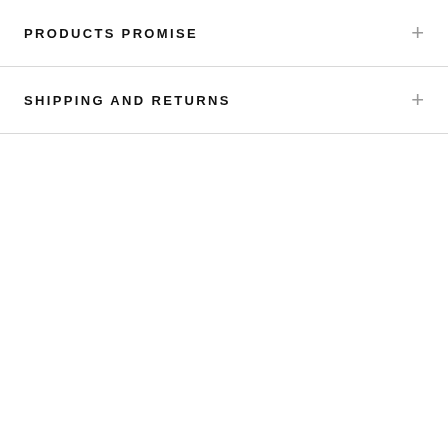PRODUCTS PROMISE
SHIPPING AND RETURNS